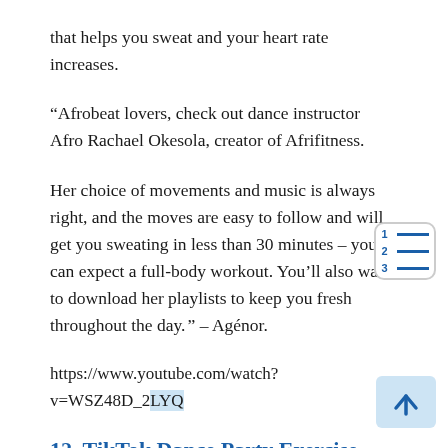that helps you sweat and your heart rate increases.
“Afrobeat lovers, check out dance instructor Afro Rachael Okesola, creator of Afrifitness.
Her choice of movements and music is always right, and the moves are easy to follow and will get you sweating in less than 30 minutes – you can expect a full-body workout. You’ll also want to download her playlists to keep you fresh throughout the day. ” – Agénor.
https://www.youtube.com/watch?v=WSZ48D_2LYQ
12. TikTok Dance Party Exercise